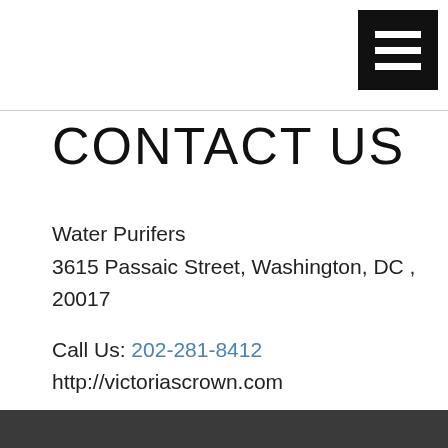[Figure (other): Black hamburger menu button icon in top-right corner]
CONTACT US
Water Purifers
3615 Passaic Street, Washington, DC , 20017
Call Us: 202-281-8412
http://victoriascrown.com